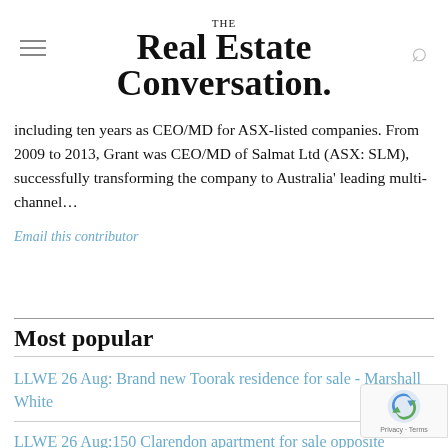THE Real Estate Conversation.
including ten years as CEO/MD for ASX-listed companies. From 2009 to 2013, Grant was CEO/MD of Salmat Ltd (ASX: SLM), successfully transforming the company to Australia' leading multi-channel...
Email this contributor
Most popular
LLWE 26 Aug: Brand new Toorak residence for sale - Marshall White
LLWE 26 Aug:150 Clarendon apartment for sale opposite Fitzroy Gardens - Kay & Burton